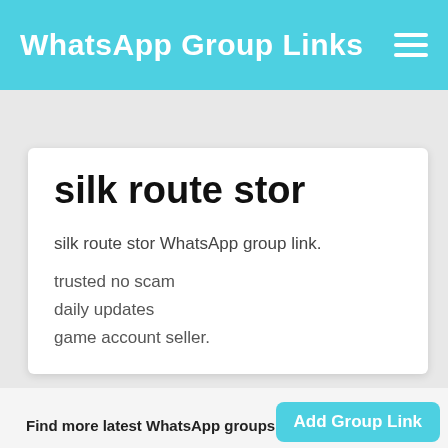WhatsApp Group Links
silk route stor
silk route stor WhatsApp group link.
trusted no scam
daily updates
game account seller.
Find more latest WhatsApp groups
Add Group Link